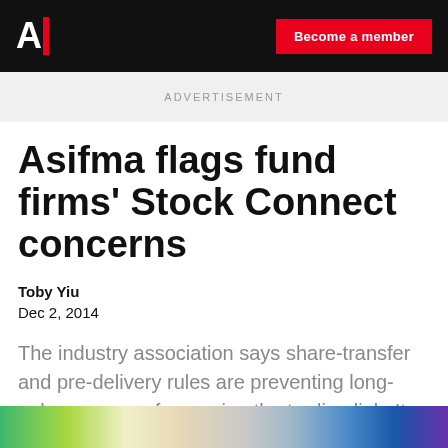AI | Become a member
ADVERTISEMENT
Asifma flags fund firms' Stock Connect concerns
Toby Yiu
Dec 2, 2014
The industry association says share-transfer and pre-delivery rules are preventing long-only managers from using the trading link. It expects regulators to tackle the latter issue early in 2015.
[Figure (photo): Colorful blurred background image strip at bottom of page]